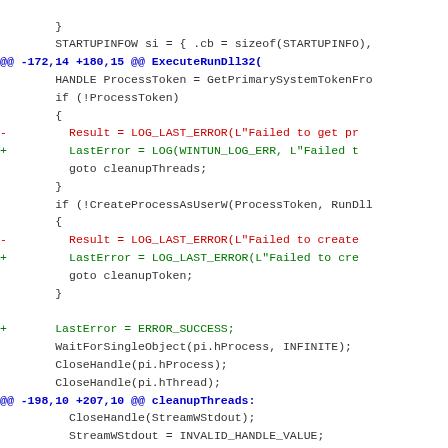[Figure (other): Git diff code snippet showing changes to a C/C++ source file involving STARTUPINFOW, ExecuteRunDll32, process token handling, LOG_LAST_ERROR, LastError assignments, and cleanupThreads hunk]